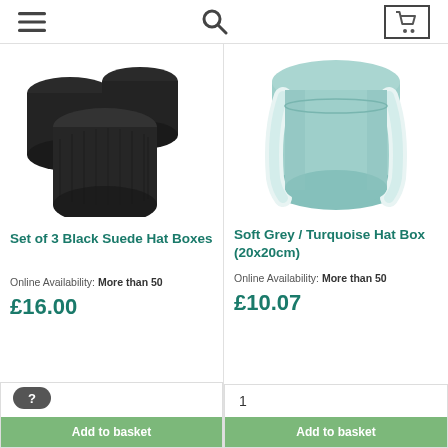Navigation bar with hamburger menu, search icon, and cart icon
[Figure (photo): Set of 3 nested black suede cylindrical hat boxes of different sizes]
Set of 3 Black Suede Hat Boxes
Online Availability: More than 50
£16.00
Add to basket
[Figure (photo): Single round teal/turquoise hat box with white ribbon handle]
Soft Grey / Turquoise Hat Box (20x20cm)
Online Availability: More than 50
£10.07
1
Add to basket